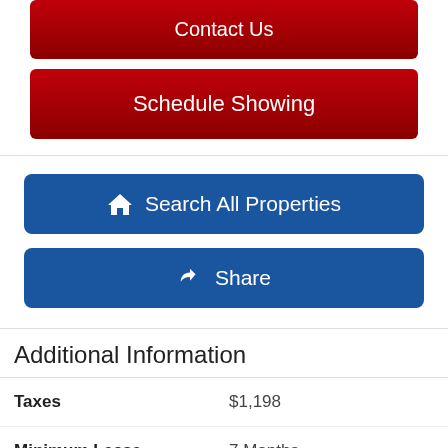[Figure (screenshot): Red 'Contact Us' button (partially visible at top)]
[Figure (screenshot): Red 'Schedule Showing' button]
[Figure (screenshot): Blue 'Search All Properties' button with house icon]
[Figure (screenshot): Blue 'Share' button with share icon]
Additional Information
| Field | Value |
| --- | --- |
| Taxes | $1,198 |
| Minimum Lease | 7 Months |
| Hoa Fee | $219 |